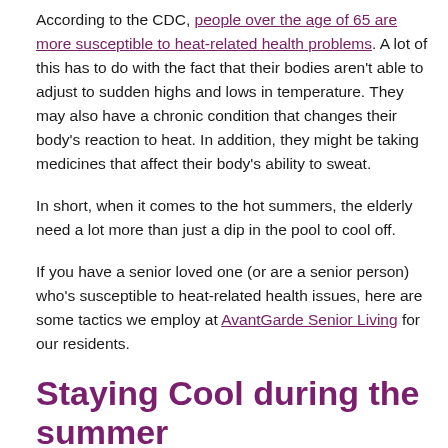According to the CDC, people over the age of 65 are more susceptible to heat-related health problems. A lot of this has to do with the fact that their bodies aren't able to adjust to sudden highs and lows in temperature. They may also have a chronic condition that changes their body's reaction to heat. In addition, they might be taking medicines that affect their body's ability to sweat.
In short, when it comes to the hot summers, the elderly need a lot more than just a dip in the pool to cool off.
If you have a senior loved one (or are a senior person) who's susceptible to heat-related health issues, here are some tactics we employ at AvantGarde Senior Living for our residents.
Staying Cool during the summer